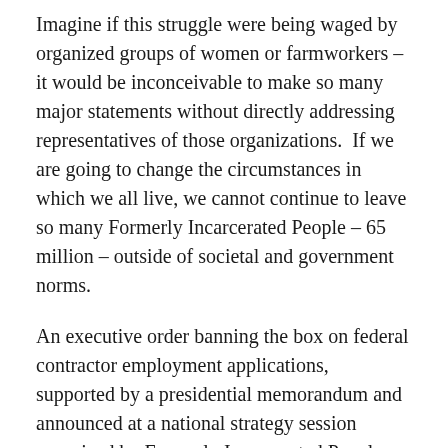Imagine if this struggle were being waged by organized groups of women or farmworkers – it would be inconceivable to make so many major statements without directly addressing representatives of those organizations.  If we are going to change the circumstances in which we all live, we cannot continue to leave so many Formerly Incarcerated People – 65 million – outside of societal and government norms.
An executive order banning the box on federal contractor employment applications, supported by a presidential memorandum and announced at a national strategy session organized by Formerly Incarcerated People, would demonstrate to the marginalized population that our voices are genuinely heard, and that we do have some